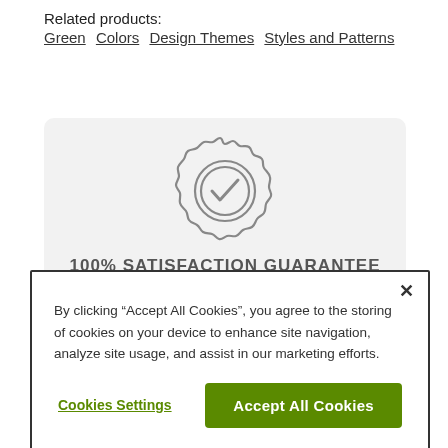Related products:
Green  Colors  Design Themes  Styles and Patterns
[Figure (illustration): Circular badge/seal icon with a checkmark, rendered in gray outline style]
100% SATISFACTION GUARANTEE
If you have any issue, we'll make it right! Return or exchange your purchase within 30 days - even if its personalized.
By clicking “Accept All Cookies”, you agree to the storing of cookies on your device to enhance site navigation, analyze site usage, and assist in our marketing efforts.
Cookies Settings
Accept All Cookies